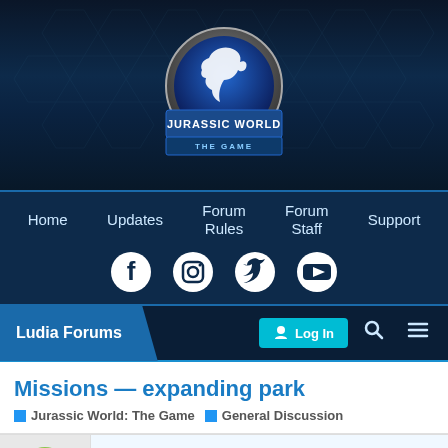[Figure (logo): Jurassic World: The Game logo with dinosaur silhouette on dark navy hexagonal background]
Home  Updates  Forum Rules  Forum Staff  Support
[Figure (infographic): Social media icons: Facebook, Instagram, Twitter, YouTube]
Ludia Forums  Log In  [search] [menu]
Missions — expanding park
Jurassic World: The Game  General Discussion
McLarenMB  1 / 7